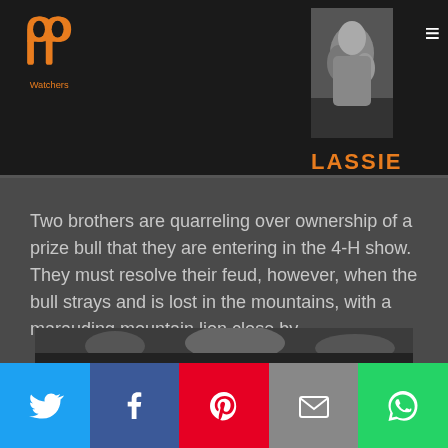[Figure (logo): PP Watchers logo in orange on dark background]
[Figure (photo): Black and white photo of Lassie TV show cast/dog]
LASSIE
Two brothers are quarreling over ownership of a prize bull that they are entering in the 4-H show. They must resolve their feud, however, when the bull strays and is lost in the mountains, with a marauding mountain lion close by.
[Figure (photo): Black and white still image from Lassie show at bottom of page]
[Figure (infographic): Social media share buttons: Twitter, Facebook, Pinterest, Email, WhatsApp]